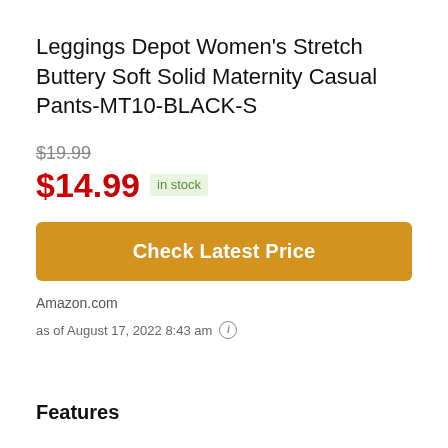Leggings Depot Women's Stretch Buttery Soft Solid Maternity Casual Pants-MT10-BLACK-S
$19.99
$14.99 in stock
Check Latest Price
Amazon.com
as of August 17, 2022 8:43 am
Features